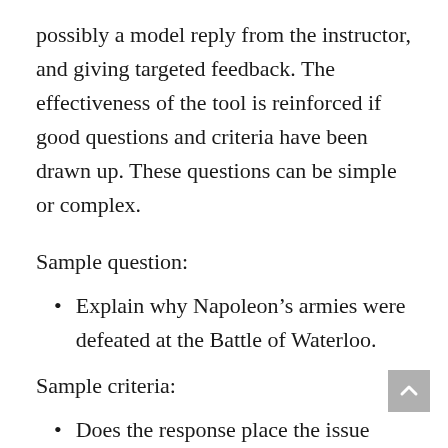possibly a model reply from the instructor, and giving targeted feedback. The effectiveness of the tool is reinforced if good questions and criteria have been drawn up. These questions can be simple or complex.
Sample question:
Explain why Napoleon’s armies were defeated at the Battle of Waterloo.
Sample criteria:
Does the response place the issue within the broader context of the